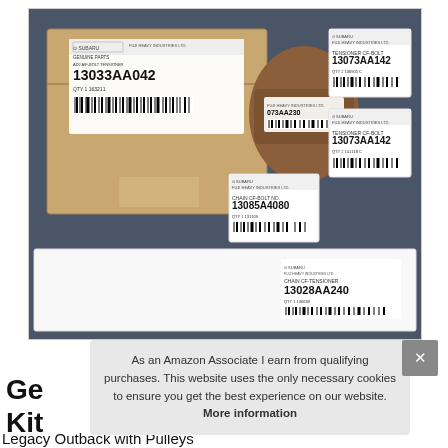[Figure (photo): Photo of Subaru genuine OEM parts in boxes and packages: a large cardboard box labeled 13033AA042, small white boxes labeled 13073AA142 (x2), a bag, a white box labeled 13085A4080, and a flat white package labeled 13028AA240, all on a blue surface.]
As an Amazon Associate I earn from qualifying purchases. This website uses the only necessary cookies to ensure you get the best experience on our website. More information
Ge
Kit
Legacy Outback with Pulleys